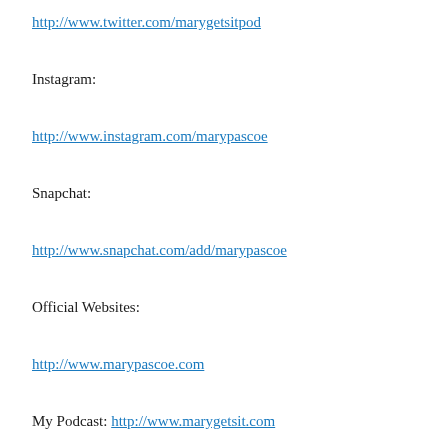http://www.twitter.com/marygetsitpod
Instagram:
http://www.instagram.com/marypascoe
Snapchat:
http://www.snapchat.com/add/marypascoe
Official Websites:
http://www.marypascoe.com
My Podcast: http://www.marygetsit.com